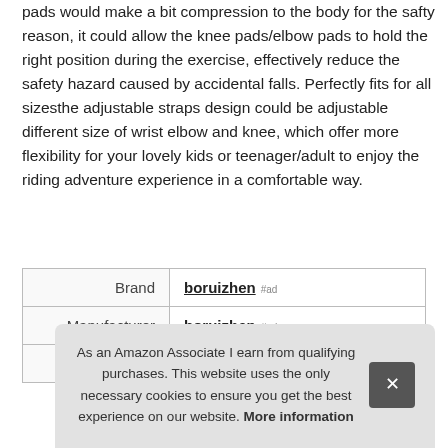pads would make a bit compression to the body for the safty reason, it could allow the knee pads/elbow pads to hold the right position during the exercise, effectively reduce the safety hazard caused by accidental falls. Perfectly fits for all sizesthe adjustable straps design could be adjustable different size of wrist elbow and knee, which offer more flexibility for your lovely kids or teenager/adult to enjoy the riding adventure experience in a comfortable way.
|  |  |
| --- | --- |
| Brand | boruizhen #ad |
| Manufacturer | boruizhen #ad |
| Part Number | 2100-F20-023 |
As an Amazon Associate I earn from qualifying purchases. This website uses the only necessary cookies to ensure you get the best experience on our website. More information